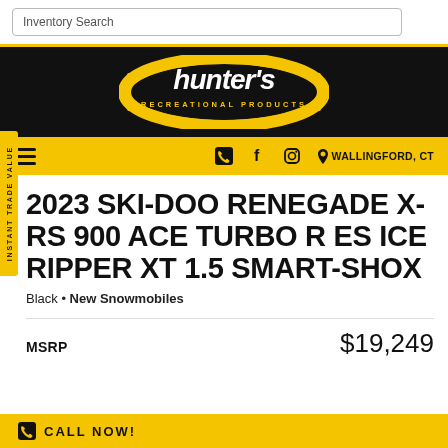Inventory Search
[Figure (logo): Hunter's Recreational Products logo — stylized script text in white on yellow oval, black background]
WALLINGFORD, CT
2023 SKI-DOO RENEGADE X-RS 900 ACE TURBO R ES ICE RIPPER XT 1.5 SMART-SHOX
Black • New Snowmobiles
MSRP   $19,249
CALL NOW!